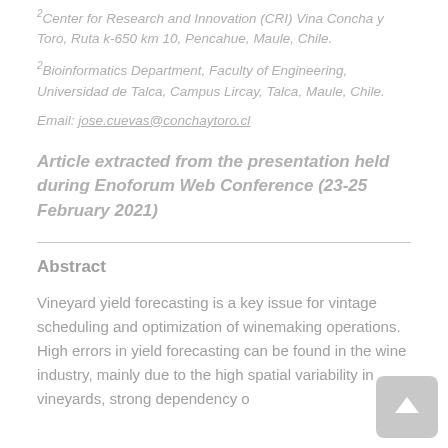2Center for Research and Innovation (CRI) Vina Concha y Toro, Ruta k-650 km 10, Pencahue, Maule, Chile.
2Bioinformatics Department, Faculty of Engineering, Universidad de Talca, Campus Lircay, Talca, Maule, Chile.
Email: jose.cuevas@conchaytoro.cl
Article extracted from the presentation held during Enoforum Web Conference (23-25 February 2021)
Abstract
Vineyard yield forecasting is a key issue for vintage scheduling and optimization of winemaking operations. High errors in yield forecasting can be found in the wine industry, mainly due to the high spatial variability in vineyards, strong dependency o...